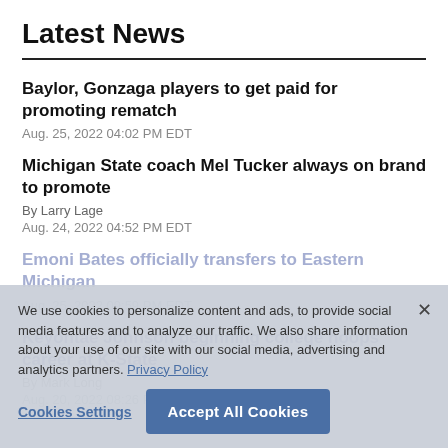Latest News
Baylor, Gonzaga players to get paid for promoting rematch
Aug. 25, 2022 04:02 PM EDT
Michigan State coach Mel Tucker always on brand to promote
By Larry Lage
Aug. 24, 2022 04:52 PM EDT
Emoni Bates officially transfers to Eastern Michigan
Aug. 25, 2022 09:59 PM EDT
Keyontae Johnson beginning college hoops career at K-State
By Mark Long
Aug. 20, 2022 08:26 PM EDT
We use cookies to personalize content and ads, to provide social media features and to analyze our traffic. We also share information about your use of our site with our social media, advertising and analytics partners. Privacy Policy